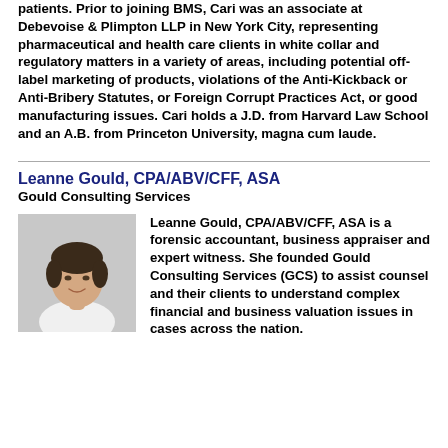patients. Prior to joining BMS, Cari was an associate at Debevoise & Plimpton LLP in New York City, representing pharmaceutical and health care clients in white collar and regulatory matters in a variety of areas, including potential off-label marketing of products, violations of the Anti-Kickback or Anti-Bribery Statutes, or Foreign Corrupt Practices Act, or good manufacturing issues. Cari holds a J.D. from Harvard Law School and an A.B. from Princeton University, magna cum laude.
Leanne Gould, CPA/ABV/CFF, ASA
Gould Consulting Services
[Figure (photo): Headshot photo of Leanne Gould, a woman with short dark hair wearing a white top, smiling]
Leanne Gould, CPA/ABV/CFF, ASA is a forensic accountant, business appraiser and expert witness. She founded Gould Consulting Services (GCS) to assist counsel and their clients to understand complex financial and business valuation issues in cases across the nation.